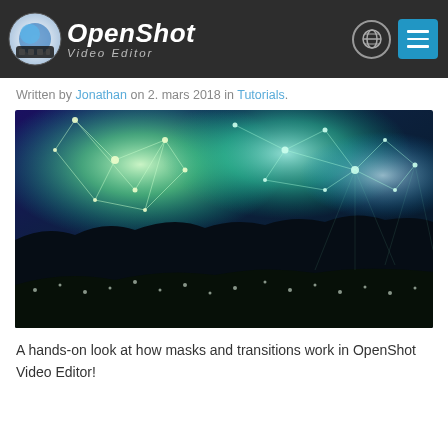OpenShot Video Editor
Written by Jonathan on 2. mars 2018 in Tutorials.
[Figure (photo): A stylized photo of a field at night with glowing green and teal particle network effects overlaid on the sky above dark silhouetted bushes and white wildflowers in the foreground.]
A hands-on look at how masks and transitions work in OpenShot Video Editor!